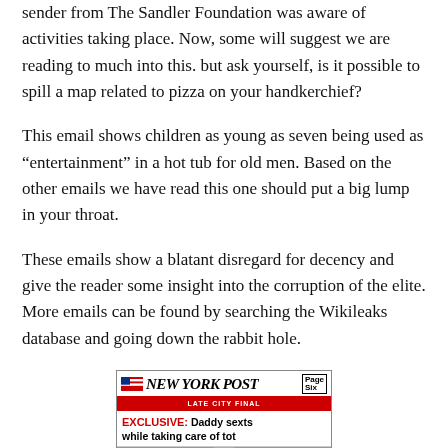sender from The Sandler Foundation was aware of activities taking place. Now, some will suggest we are reading to much into this. but ask yourself, is it possible to spill a map related to pizza on your handkerchief?
This email shows children as young as seven being used as “entertainment” in a hot tub for old men. Based on the other emails we have read this one should put a big lump in your throat.
These emails show a blatant disregard for decency and give the reader some insight into the corruption of the elite. More emails can be found by searching the Wikileaks database and going down the rabbit hole.
[Figure (photo): New York Post newspaper front page showing 'Page Six' headline: 'EXCLUSIVE: Daddy sexts while taking care of tot' with a photo of a man's face at the bottom.]